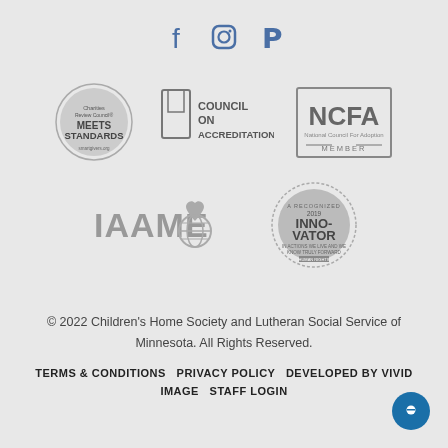[Figure (logo): Social media icons: Facebook, Instagram, Pinterest in blue-gray color]
[Figure (logo): Charities Review Council - Meets Standards badge (circular, gray)]
[Figure (logo): Council on Accreditation logo with book icon]
[Figure (logo): NCFA National Council For Adoption - Member badge]
[Figure (logo): IAAME logo with heart and globe icon]
[Figure (logo): Recognized Innovator badge (circular, gray)]
© 2022 Children's Home Society and Lutheran Social Service of Minnesota. All Rights Reserved.
TERMS & CONDITIONS   PRIVACY POLICY   DEVELOPED BY VIVID IMAGE   STAFF LOGIN